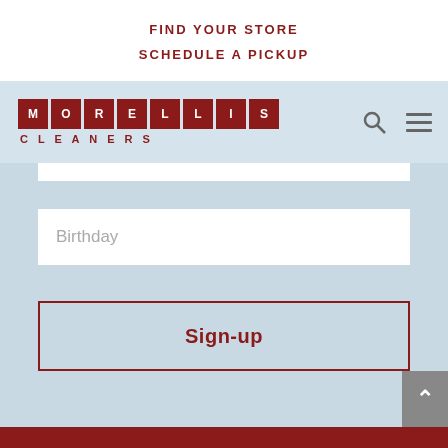FIND YOUR STORE
SCHEDULE A PICKUP
[Figure (logo): Morellis Cleaners logo: stylized letter boxes spelling MORELLIS on top row, CLEANERS text below]
Birthday
Sign-up